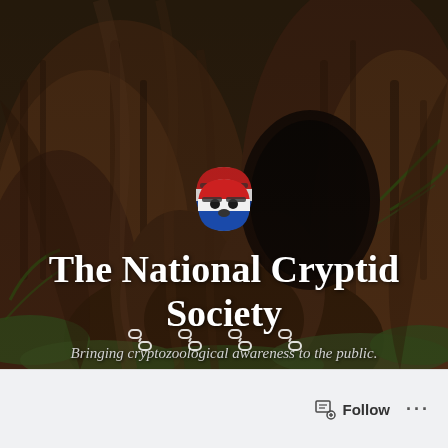[Figure (photo): Dark forest scene with large tree roots and moss, featuring a bigfoot/cryptid figure with a red, white, and blue painted face peeking out from behind the tree trunk]
The National Cryptid Society
Bringing cryptozoological awareness to the public.
[Figure (infographic): Four social media chain/link icons in white outline style at the bottom of the photo]
Follow ...